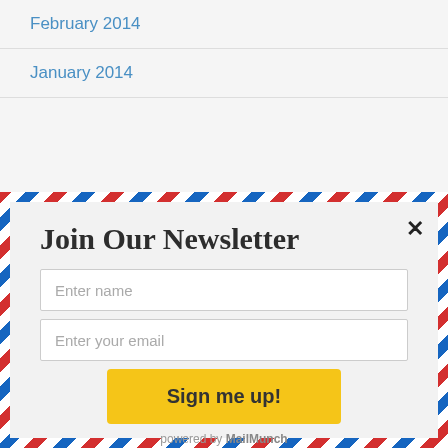February 2014
January 2014
Join Our Newsletter
Enter name
Enter your email
Sign me up!
powered by MailMunch